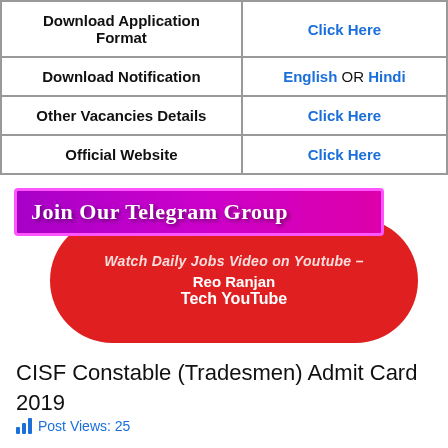|  |  |
| --- | --- |
| Download Application Format | Click Here |
| Download Notification | English OR Hindi |
| Other Vacancies Details | Click Here |
| Official Website | Click Here |
[Figure (infographic): Purple banner overlay reading 'Join Our Telegram Group' over a red pill-shaped button with text 'Watch Daily Jobs Video on Youtube - Reo Ranjan Tech YouTube']
CISF Constable (Tradesmen) Admit Card 2019
Post Views: 25